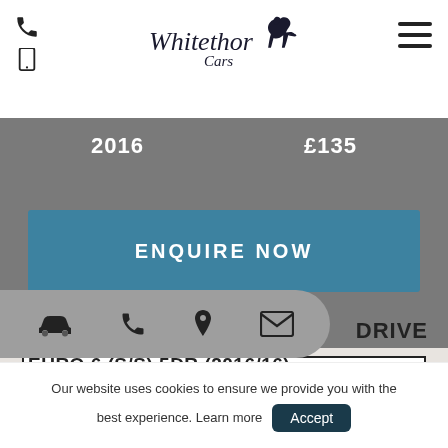Whitethorn Cars
2016   £135
ENQUIRE NOW
HEAT LEATHER-HK-NAV-M SPORT +
DRIVE
EURO 6 (S/S) 5DR (2016/16)
Our website uses cookies to ensure we provide you with the best experience. Learn more   Accept